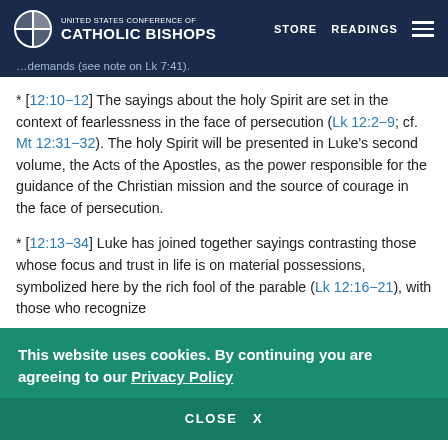UNITED STATES CONFERENCE OF CATHOLIC BISHOPS | STORE  READINGS
* [12:10−12] The sayings about the holy Spirit are set in the context of fearlessness in the face of persecution (Lk 12:2−9; cf. Mt 12:31−32). The holy Spirit will be presented in Luke's second volume, the Acts of the Apostles, as the power responsible for the guidance of the Christian mission and the source of courage in the face of persecution.
* [12:13−34] Luke has joined together sayings contrasting those whose focus and trust in life is on material possessions, symbolized here by the rich fool of the parable (Lk 12:16−21), with those who recognize
This website uses cookies. By continuing you are agreeing to our Privacy Policy
CLOSE  X